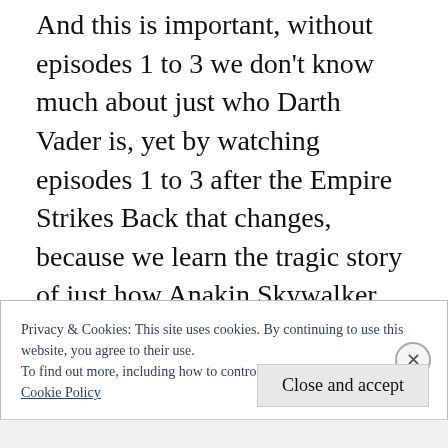And this is important, without episodes 1 to 3 we don't know much about just who Darth Vader is, yet by watching episodes 1 to 3 after the Empire Strikes Back that changes, because we learn the tragic story of just how Anakin Skywalker became Darth Vader. And in doing so it sets us up perfectly for Return of the Jedi, which in my view carries much more emotional weight when you know just how Darth Vader became Darth Vader. And that's because it tells us that there may just be some good in Darth
Privacy & Cookies: This site uses cookies. By continuing to use this website, you agree to their use.
To find out more, including how to control cookies, see here:
Cookie Policy
Close and accept